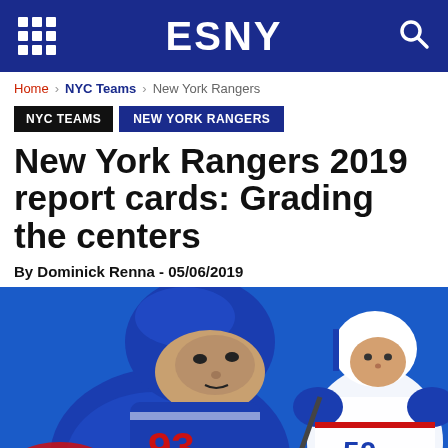ESNY
Home › NYC Teams › New York Rangers
NYC TEAMS  NEW YORK RANGERS
New York Rangers 2019 report cards: Grading the centers
By Dominick Renna - 05/06/2019
[Figure (photo): Two New York Rangers hockey players in blue uniforms. Player #93 in close-up on left wearing blue jersey, and player #50 in white jersey on right, both in action poses against a blue background.]